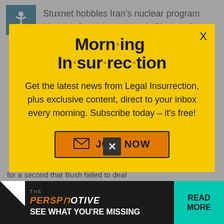Stuxnet hobbles Iran's nuclear program
Massive fire destroys Iran's Shahab-3 ballistic missiles
Someone has been paying attention
[Figure (infographic): Yellow modal popup for Morning Insurrection newsletter subscription with orange-dotted title text, description text, and JOIN NOW button]
SallyVee | October 3, 2010 at 6:57 pm
[Figure (infographic): Bottom advertisement banner: THE PERSPECTIVE - SEE WHAT YOU'RE MISSING - READ MORE]